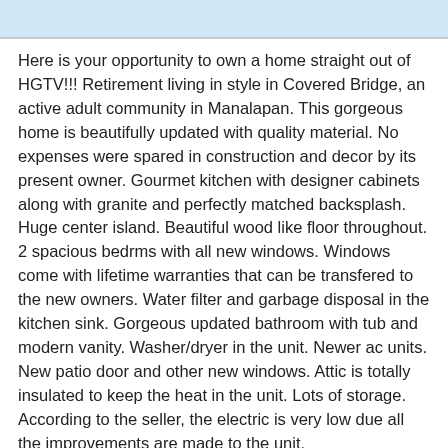Here is your opportunity to own a home straight out of HGTV!!! Retirement living in style in Covered Bridge, an active adult community in Manalapan. This gorgeous home is beautifully updated with quality material. No expenses were spared in construction and decor by its present owner. Gourmet kitchen with designer cabinets along with granite and perfectly matched backsplash. Huge center island. Beautiful wood like floor throughout. 2 spacious bedrms with all new windows. Windows come with lifetime warranties that can be transfered to the new owners. Water filter and garbage disposal in the kitchen sink. Gorgeous updated bathroom with tub and modern vanity. Washer/dryer in the unit. Newer ac units. New patio door and other new windows. Attic is totally insulated to keep the heat in the unit. Lots of storage. According to the seller, the electric is very low due all the improvements are made to the unit.